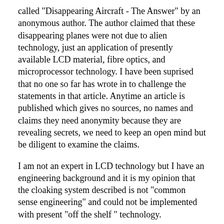called "Disappearing Aircraft - The Answer" by an anonymous author. The author claimed that these disappearing planes were not due to alien technology, just an application of presently available LCD material, fibre optics, and microprocessor technology. I have been suprised that no one so far has wrote in to challenge the statements in that article. Anytime an article is published which gives no sources, no names and claims they need anonymity because they are revealing secrets, we need to keep an open mind but be diligent to examine the claims.
I am not an expert in LCD technology but I have an engineering background and it is my opinion that the cloaking system described is not "common sense engineering" and could not be implemented with present "off the shelf " technology.
There are two types of LCDs (liquid crystal displays) - a reflective kind which reflects ambient light, and requires little power, because they don't emit any light on their own. However their ability to mimic surroundings is limited. Place a piece of white paper beside that type of